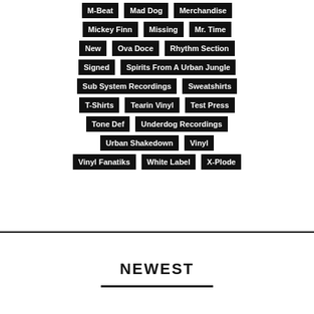M-Beat
Mad Dog
Merchandise
Mickey Finn
Missing
Mr. Time
New
Ova Doce
Rhythm Section
Signed
Spirits From A Urban Jungle
Sub System Recordings
Sweatshirts
T-Shirts
Tearin Vinyl
Test Press
Tone Def
Underdog Recordings
Urban Shakedown
Vinyl
Vinyl Fanatiks
White Label
X-Plode
NEWEST